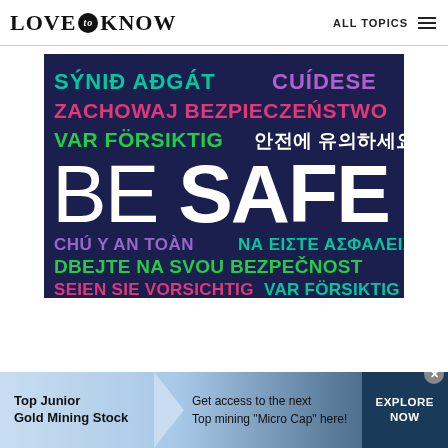LOVE to KNOW   ALL TOPICS
[Figure (infographic): Dark navy blue square image with multilingual text saying 'be safe' in various languages and colors. Languages include Icelandic (SÝNIÐ AÐGÁT in teal), Spanish (CUÍDESE in purple), Polish (ZACHOWAJ BEZPIECZEŃSTWO in pink), Swedish (VAR FÖRSIKTIG in green), Korean (안전에 유의하세요 in white), large white bold English (BE SAFE), Vietnamese (CHÚ Ý AN TOÀN in purple), Greek (ΝΑ ΕΙΣΤΕ ΑΣΦΑΛΕΙΣ in teal), Czech (DBEJTE NA SVOU BEZPEČNOST in green), German (SEIEN SIE VORSICHTIG in pink), and Norwegian/Swedish (VAR FÖRSIKTIG in teal).]
[Figure (infographic): Advertisement banner for Top Junior Gold Mining Stock. Light blue background with mountain shapes. Text: 'Top Junior Gold Mining Stock', 'Get access to the next Top mining "Micro Cap" here!', 'EXPLORE NOW' button on dark blue background.]